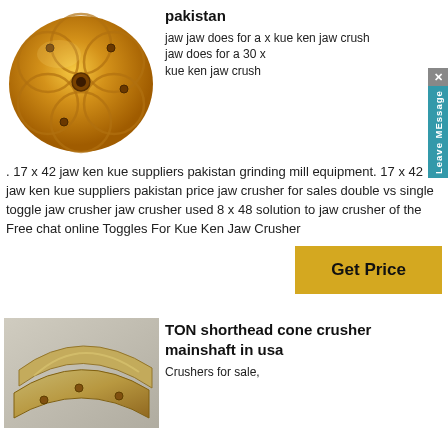[Figure (photo): Gold/bronze colored circular crusher part viewed from above, with circular petal patterns and holes]
pakistan
jaw jaw does for a x kue ken jaw crusher jaw does for a 30 x kue ken jaw crusher. 17 x 42 jaw ken kue suppliers pakistan grinding mill equipment. 17 x 42 jaw ken kue suppliers pakistan price jaw crusher for sales double vs single toggle jaw crusher jaw crusher used 8 x 48 solution to jaw crusher of the Free chat online Toggles For Kue Ken Jaw Crusher
Get Price
[Figure (photo): Gold/bronze colored curved metal plates or crusher liners on grey background]
TON shorthead cone crusher mainshaft in usa
Crushers for sale,